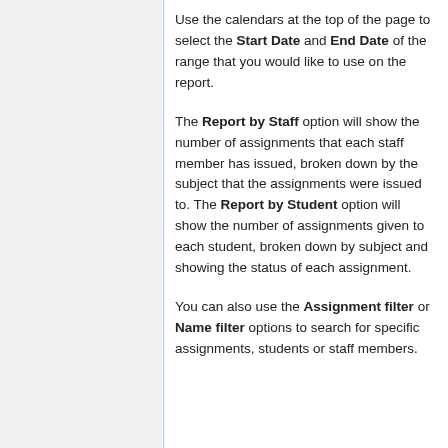Use the calendars at the top of the page to select the Start Date and End Date of the range that you would like to use on the report.
The Report by Staff option will show the number of assignments that each staff member has issued, broken down by the subject that the assignments were issued to. The Report by Student option will show the number of assignments given to each student, broken down by subject and showing the status of each assignment.
You can also use the Assignment filter or Name filter options to search for specific assignments, students or staff members.